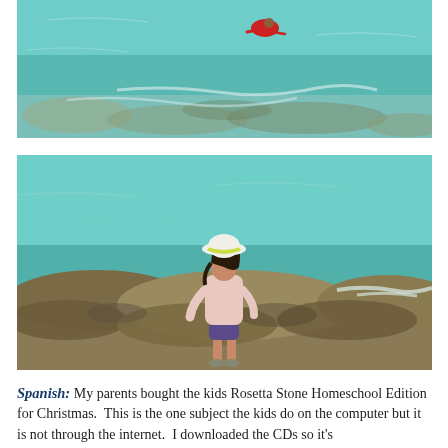[Figure (photo): Aerial or high-angle view of clear turquoise shallow water with rocky seabed; a person in red is visible near the top center of the image.]
[Figure (photo): A young girl wearing a white/yellow brimmed hat and a light pink long-sleeve shirt stands on rocky shore at the edge of clear turquoise water, viewed from behind.]
Spanish: My parents bought the kids Rosetta Stone Homeschool Edition for Christmas.  This is the one subject the kids do on the computer but it is not through the internet.  I downloaded the CDs so it's